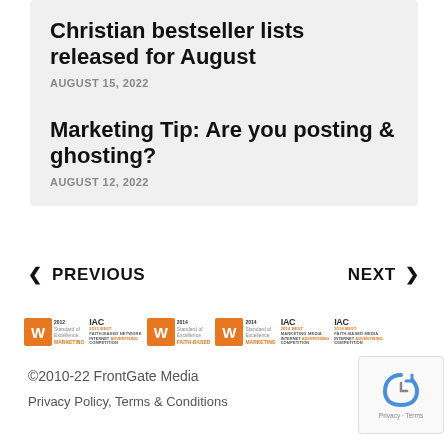Christian bestseller lists released for August
AUGUST 15, 2022
Marketing Tip: Are you posting & ghosting?
AUGUST 12, 2022
< PREVIOUS
NEXT >
[Figure (logo): Row of award badges: WebAward 2012 Standard of Excellence Marketing, IAC 2013 Best Faith-Based Network Internet Advertising Competition, WebAward 2014 Standard of Excellence Faith-Based, WebAward 2014 Standard of Excellence Marketing, IAC 2014 Best Marketing Media Internet Advertising Competition, IAC 2014 Best Faith-Based Media Internet Advertising Competition]
©2010-22 FrontGate Media
Privacy Policy, Terms & Conditions